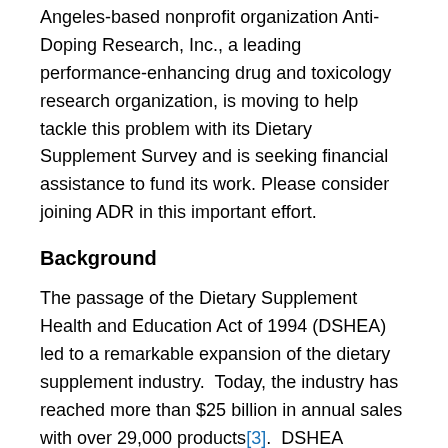Angeles-based nonprofit organization Anti-Doping Research, Inc., a leading performance-enhancing drug and toxicology research organization, is moving to help tackle this problem with its Dietary Supplement Survey and is seeking financial assistance to fund its work. Please consider joining ADR in this important effort.
Background
The passage of the Dietary Supplement Health and Education Act of 1994 (DSHEA) led to a remarkable expansion of the dietary supplement industry. Today, the industry has reached more than $25 billion in annual sales with over 29,000 products[3]. DSHEA qualified dietary supplements as a special category excluding them from the stringent requirements for safety or efficacy that the FDA has for food and drugs. Vitamins, minerals, herbs,